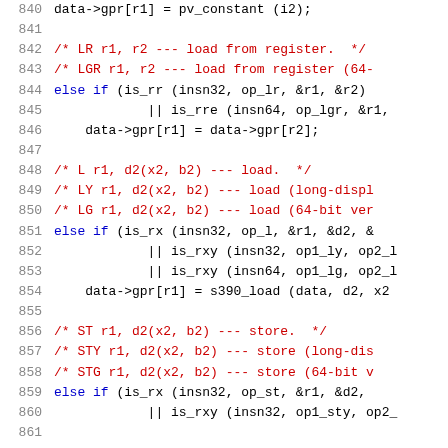[Figure (screenshot): Source code listing lines 840-861 in a monospace code editor style, showing C code for a processor emulator handling LR, LGR, L, LY, LG, ST, STY, STG instructions with syntax highlighting (blue keywords, red comments, black identifiers).]